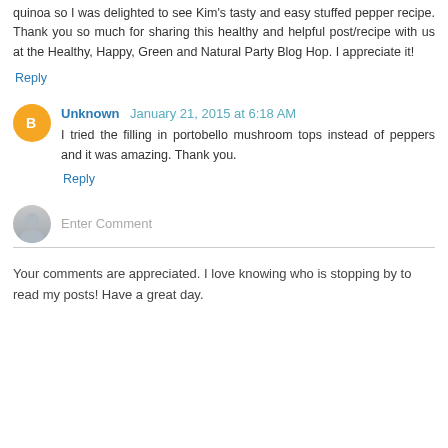quinoa so I was delighted to see Kim's tasty and easy stuffed pepper recipe. Thank you so much for sharing this healthy and helpful post/recipe with us at the Healthy, Happy, Green and Natural Party Blog Hop. I appreciate it!
Reply
Unknown January 21, 2015 at 6:18 AM
I tried the filling in portobello mushroom tops instead of peppers and it was amazing. Thank you.
Reply
Enter Comment
Your comments are appreciated. I love knowing who is stopping by to read my posts! Have a great day.